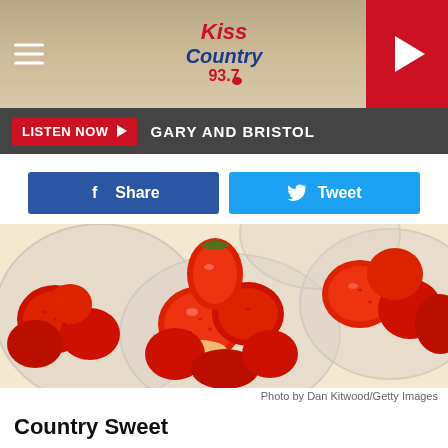Kiss Country 93.7
LISTEN NOW ▶  GARY AND BRISTOL
Share  Tweet
[Figure (photo): Close-up photo of fresh red strawberries in clear plastic cups/containers, multiple cups visible, shallow depth of field with blurred background.]
Photo by Dan Kitwood/Getty Images
Country Sweet